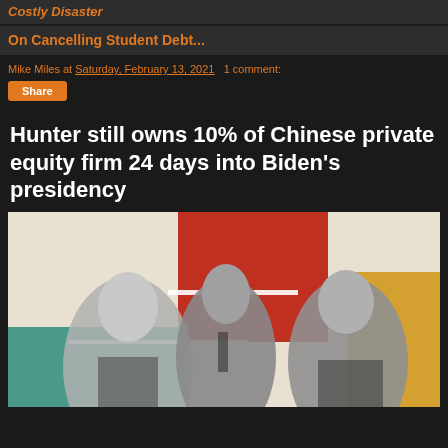Costly Disaster
On Cancelling Student Debt...
Mike Miles at Saturday, February 13, 2021   1 comment:
Share
Hunter still owns 10% of Chinese private equity firm 24 days into Biden's presidency
[Figure (photo): Black and white stylized illustration of three men in suits against a colorful geometric background of red, teal, orange/yellow, and cream panels]